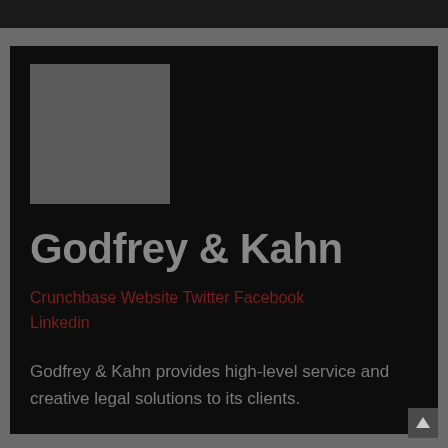[Figure (logo): Gray square placeholder logo for Godfrey & Kahn]
Godfrey & Kahn
Crunchbase Website Twitter Facebook Linkedin
Godfrey & Kahn provides high-level service and creative legal solutions to its clients.